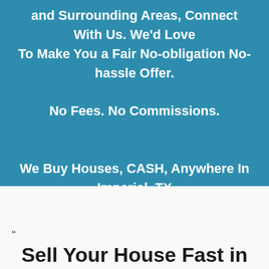and Surrounding Areas, Connect With Us. We'd Love To Make You a Fair No-obligation No-hassle Offer. No Fees. No Commissions.

We Buy Houses, CASH, Anywhere In Imperial, TX and Surrounding Areas, At ANY PRICE, and ANY CONDITIONS.
”
Sell Your House Fast in